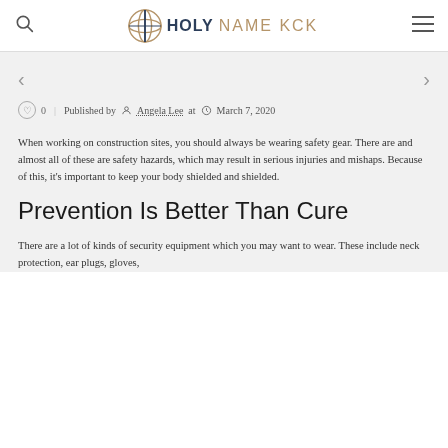HOLY NAME KCK
♡ 0  |  Published by  Angela Lee at  March 7, 2020
When working on construction sites, you should always be wearing safety gear. There are and almost all of these are safety hazards, which may result in serious injuries and mishaps. Because of this, it's important to keep your body shielded and shielded.
Prevention Is Better Than Cure
There are a lot of kinds of security equipment which you may want to wear. These include neck protection, ear plugs, gloves,